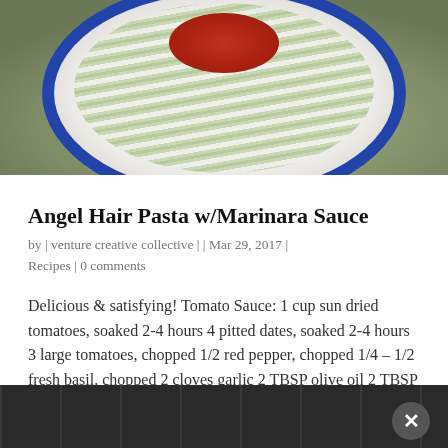[Figure (photo): Bowl of angel hair pasta (zucchini noodles) topped with red marinara/tomato sauce, served on a white plate with blue rim, on a wooden surface]
Angel Hair Pasta w/Marinara Sauce
by | venture creative collective | | Mar 29, 2017 | Recipes | 0 comments
Delicious & satisfying! Tomato Sauce: 1 cup sun dried tomatoes, soaked 2-4 hours 4 pitted dates, soaked 2-4 hours 3 large tomatoes, chopped 1/2 red pepper, chopped 1/4 – 1/2 fresh basil, chopped 2 cloves garlic 2 TBSP olive oil 2 TBSP Nama Shoyu (or Tamari*) juice…
[Figure (photo): Dark wood background texture with a close button (X) in the bottom right corner]